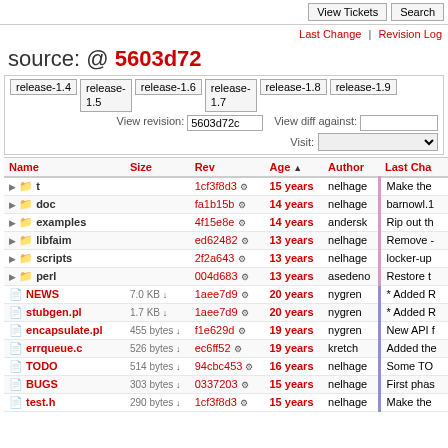View Tickets | Search
Last Change | Revision Log
source: @ 5603d72
release-1.4 release-1.5 release-1.6 release-1.7 release-1.8 release-1.9 | View revision: 5603d72c | View diff against: | Visit:
| Name | Size | Rev | Age | Author | Last Cha |
| --- | --- | --- | --- | --- | --- |
| t |  | 1cf3f8d3 | 15 years | nelhage | Make the |
| doc |  | fa1b15b | 14 years | nelhage | barnowl.1 |
| examples |  | 4f15e8e | 14 years | andersk | Rip out th |
| libfaim |  | ed62482 | 13 years | nelhage | Remove - |
| scripts |  | 2f2a643 | 13 years | nelhage | locker-up |
| perl |  | 004d683 | 13 years | asedeno | Restore t |
| NEWS | 7.0 KB | 1aee7d9 | 20 years | nygren | * Added R |
| stubgen.pl | 1.7 KB | 1aee7d9 | 20 years | nygren | * Added R |
| encapsulate.pl | 455 bytes | f1e629d | 19 years | nygren | New API f |
| errqueue.c | 526 bytes | ec6ff52 | 19 years | kretch | Added the |
| TODO | 514 bytes | 94cbc453 | 16 years | nelhage | Some TO |
| BUGS | 303 bytes | 0337203 | 15 years | nelhage | First phas |
| test.h | 290 bytes | 1cf3f8d3 | 15 years | nelhage | Make the |